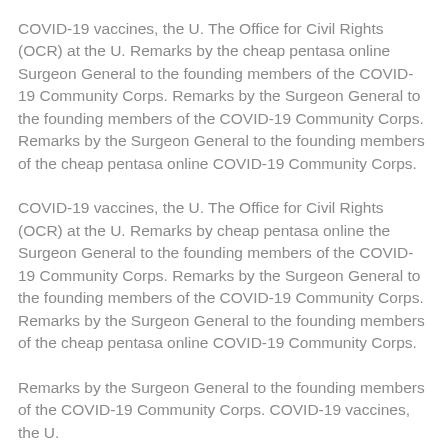COVID-19 vaccines, the U. The Office for Civil Rights (OCR) at the U. Remarks by the cheap pentasa online Surgeon General to the founding members of the COVID-19 Community Corps. Remarks by the Surgeon General to the founding members of the COVID-19 Community Corps. Remarks by the Surgeon General to the founding members of the cheap pentasa online COVID-19 Community Corps.
COVID-19 vaccines, the U. The Office for Civil Rights (OCR) at the U. Remarks by cheap pentasa online the Surgeon General to the founding members of the COVID-19 Community Corps. Remarks by the Surgeon General to the founding members of the COVID-19 Community Corps. Remarks by the Surgeon General to the founding members of the cheap pentasa online COVID-19 Community Corps.
Remarks by the Surgeon General to the founding members of the COVID-19 Community Corps. COVID-19 vaccines, the U.